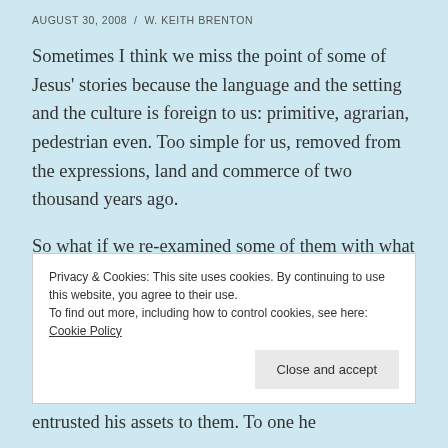AUGUST 30, 2008 / W. KEITH BRENTON
Sometimes I think we miss the point of some of Jesus' stories because the language and the setting and the culture is foreign to us: primitive, agrarian, pedestrian even. Too simple for us, removed from the expressions, land and commerce of two thousand years ago.
So what if we re-examined some of them with what we think of as more elevated language, civilized locale, and sophisticated economy? Would they make more sense
Privacy & Cookies: This site uses cookies. By continuing to use this website, you agree to their use.
To find out more, including how to control cookies, see here: Cookie Policy
entrusted his assets to them. To one he